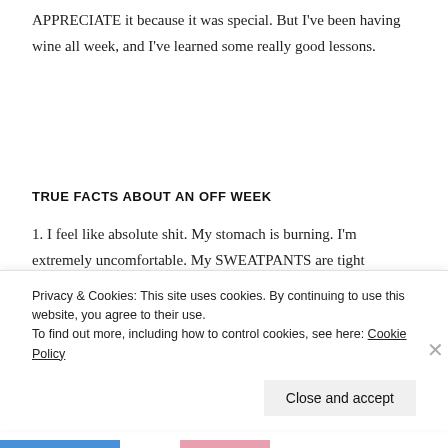APPRECIATE it because it was special. But I've been having wine all week, and I've learned some really good lessons.
TRUE FACTS ABOUT AN OFF WEEK
1. I feel like absolute shit. My stomach is burning. I'm extremely uncomfortable. My SWEATPANTS are tight
Privacy & Cookies: This site uses cookies. By continuing to use this website, you agree to their use.
To find out more, including how to control cookies, see here: Cookie Policy
Close and accept